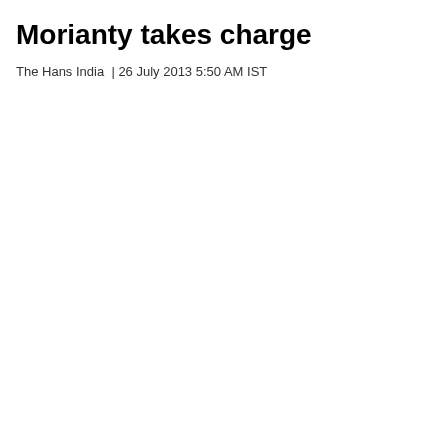Morianty takes charge
The Hans India  |  26 July 2013 5:50 AM IST